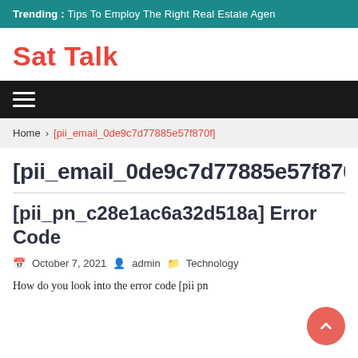Trending :  Tips To Employ The Right Real Estate Agen
Sat Talk
[pii_email_0de9c7d77885e57f870f]
Home > [pii_email_0de9c7d77885e57f870f]
[pii_email_0de9c7d77885e57f870f]
[pii_pn_c28e1ac6a32d518a] Error Code
October 7, 2021  admin  Technology
How do you look into the error code [pii pn